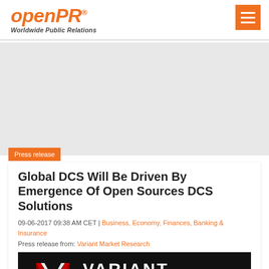openPR® Worldwide Public Relations
[Figure (logo): openPR logo with tagline 'Worldwide Public Relations' and hamburger menu button]
Press release
Global DCS Will Be Driven By Emergence Of Open Sources DCS Solutions
09-06-2017 09:38 AM CET | Business, Economy, Finances, Banking & Insurance
Press release from: Variant Market Research
[Figure (logo): Variant Market Research logo on black background — shows VMR logo mark in red/white and 'VARIANT MARKET RESEARCH' text in white]